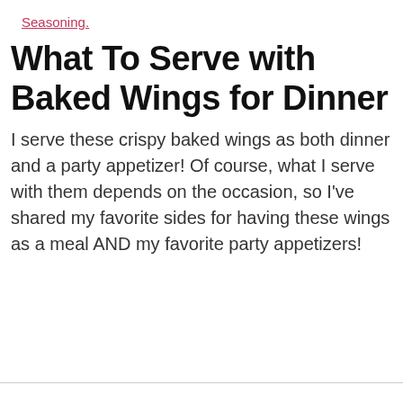Seasoning.
What To Serve with Baked Wings for Dinner
I serve these crispy baked wings as both dinner and a party appetizer! Of course, what I serve with them depends on the occasion, so I've shared my favorite sides for having these wings as a meal AND my favorite party appetizers!